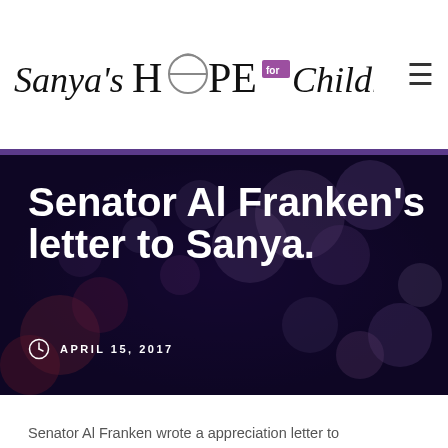Sanya's HOPE for Children
Senator Al Franken's letter to Sanya.
APRIL 15, 2017
Senator Al Franken wrote a appreciation letter to